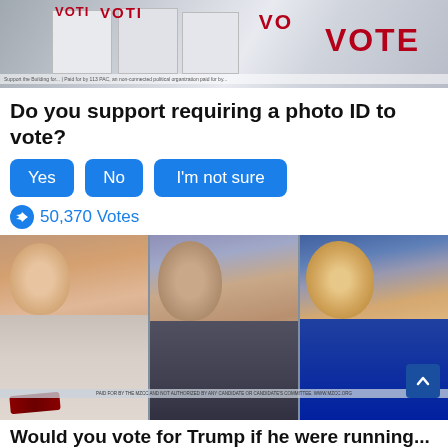[Figure (photo): Voting booths with 'VOTE' text in red, showing ballot boxes or voting stations with white and red signage]
Do you support requiring a photo ID to vote?
Yes
No
I'm not sure
50,370 Votes
[Figure (photo): Three politicians side by side: Joe Biden on the left, Kamala Harris in the center, Donald Trump on the right]
Would you vote for Trump if he were running...